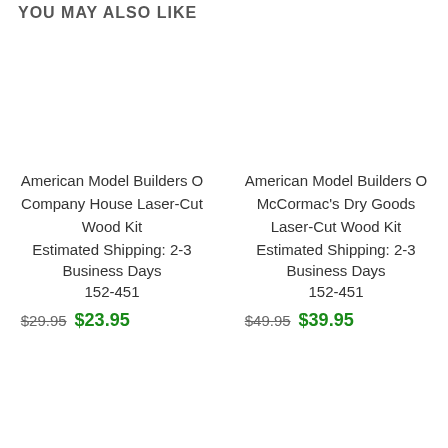YOU MAY ALSO LIKE
American Model Builders O Company House Laser-Cut Wood Kit
Estimated Shipping: 2-3 Business Days
152-451
$29.95  $23.95
American Model Builders O McCormac's Dry Goods Laser-Cut Wood Kit
Estimated Shipping: 2-3 Business Days
152-451
$49.95  $39.95